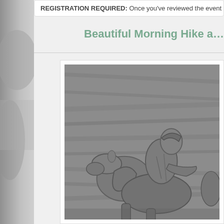REGISTRATION REQUIRED: Once you've reviewed the event de…
Beautiful Morning Hike a…
[Figure (photo): Black and white photograph of a stone relief carving showing a figure on horseback, appearing to be a historical monument or memorial carving, partially cropped.]